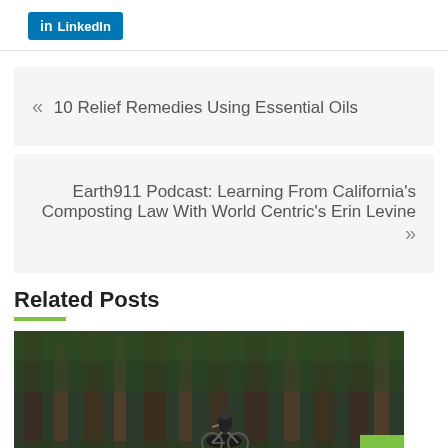[Figure (logo): LinkedIn share button with 'in' icon and 'LinkedIn' text on blue background]
« 10 Relief Remedies Using Essential Oils
Earth911 Podcast: Learning From California's Composting Law With World Centric's Erin Levine »
Related Posts
[Figure (photo): Person on a bicycle wearing a helmet, riding through a forest with tall trees, dark outdoor scene]